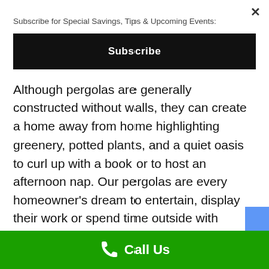Subscribe for Special Savings, Tips & Upcoming Events:
Subscribe
Although pergolas are generally constructed without walls, they can create a home away from home highlighting greenery, potted plants, and a quiet oasis to curl up with a book or to host an afternoon nap. Our pergolas are every homeowner's dream to entertain, display their work or spend time outside with company! Create your perfect outdoor green getaway.
Our pergolas can assist you in developing a shaded walkway, passageway, or sitting area
Call Us